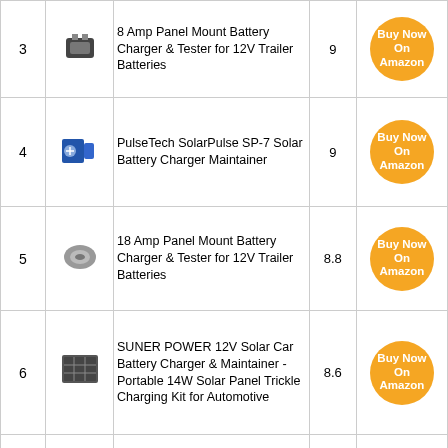| # | Image | Product | Score | Link |
| --- | --- | --- | --- | --- |
| 3 | [img] | 8 Amp Panel Mount Battery Charger & Tester for 12V Trailer Batteries | 9 | Buy Now On Amazon |
| 4 | [img] | PulseTech SolarPulse SP-7 Solar Battery Charger Maintainer | 9 | Buy Now On Amazon |
| 5 | [img] | 18 Amp Panel Mount Battery Charger & Tester for 12V Trailer Batteries | 8.8 | Buy Now On Amazon |
| 6 | [img] | SUNER POWER 12V Solar Car Battery Charger & Maintainer - Portable 14W Solar Panel Trickle Charging Kit for Automotive | 8.6 | Buy Now On Amazon |
| 7 | [img] | 2Ga Permanent Installation 7pc Dump Trailer/Winch Kit 36ft Universal kit | 8.6 | Buy Now On Amazon |
See Also:
Best Motor For Pelican Bass Raider 10e
Best Air Intake For 5.3 Silverado